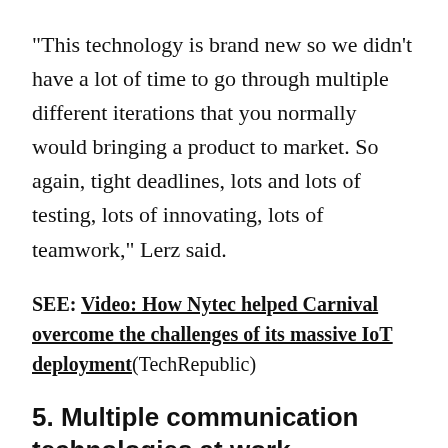"This technology is brand new so we didn't have a lot of time to go through multiple different iterations that you normally would bringing a product to market. So again, tight deadlines, lots and lots of testing, lots of innovating, lots of teamwork," Lerz said.
SEE: Video: How Nytec helped Carnival overcome the challenges of its massive IoT deployment(TechRepublic)
5. Multiple communication technologies at work
Inside each medallion are multiple communication technologies including Near Field Communication